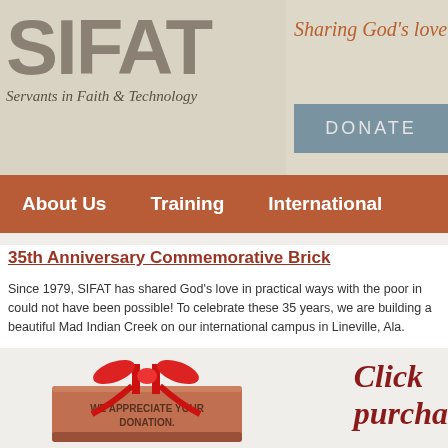SIFAT
Servants in Faith & Technology
Sharing God's love th
DONATE
About Us   Training   International
35th Anniversary Commemorative Brick
Since 1979, SIFAT has shared God's love in practical ways with the poor in could not have been possible! To celebrate these 35 years, we are building a beautiful Mad Indian Creek on our international campus in Lineville, Ala.
[Figure (photo): A red brick with a red ribbon bow on top, engraved with 'WE APPRECIATE YOUR DONATION.']
Click purcha